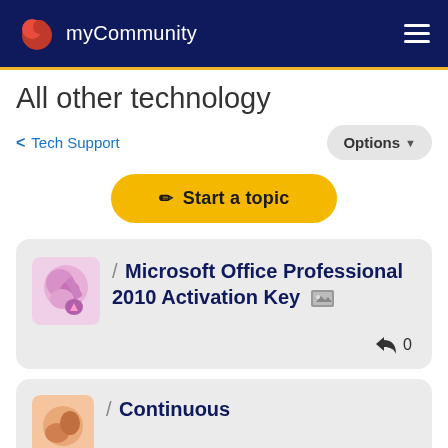myCommunity
All other technology
< Tech Support
Options
Start a topic
/ Microsoft Office Professional 2010 Activation Key  [image icon]
0
/ Continuous